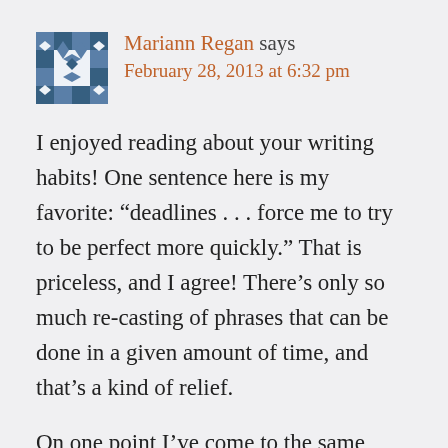[Figure (illustration): Blue and white geometric/quilt pattern avatar icon for user Mariann Regan]
Mariann Regan says
February 28, 2013 at 6:32 pm
I enjoyed reading about your writing habits! One sentence here is my favorite: “deadlines . . . force me to try to be perfect more quickly.” That is priceless, and I agree! There’s only so much re-casting of phrases that can be done in a given amount of time, and that’s a kind of relief.
On one point I’ve come to the same realization that you have — I like to write posts the day before and then